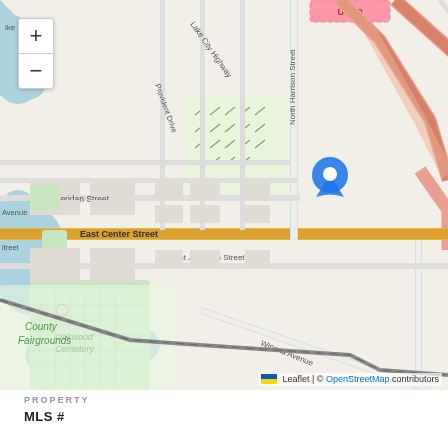[Figure (map): OpenStreetMap showing area around Lake City Highway and North Harrison Street intersection, with a blue location pin marker. Map shows Oakwood Cemetery, County Fairgrounds, East Center Street, East Jefferson Street, Sheridan Street, Husky Trail, Provident Drive, Argonne Road, Winona Avenue, Frontage Road, and North 175 East. Map controls (zoom in/out buttons) visible in top left corner.]
PROPERTY
MLS #